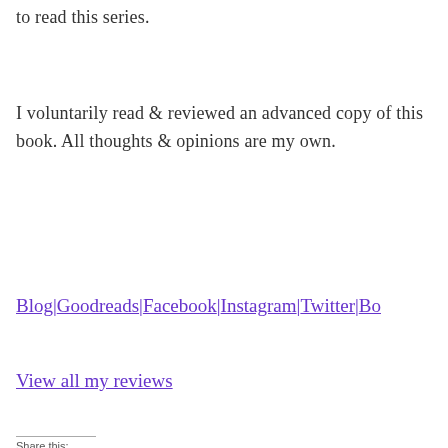to read this series.
I voluntarily read & reviewed an advanced copy of this book. All thoughts & opinions are my own.
Blog|Goodreads|Facebook|Instagram|Twitter|Bo...
View all my reviews
Share this: